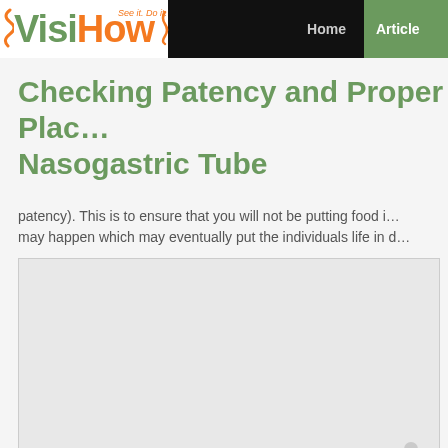[Figure (logo): VisiHow logo with orange 'See it. Do it.' tagline and green/orange text on white background]
Home  Articles
Checking Patency and Proper Placement of a Nasogastric Tube
patency). This is to ensure that you will not be putting food i... may happen which may eventually put the individuals life in d...
[Figure (photo): Large image area showing nasogastric tube procedure, partially visible figure in bottom right corner]